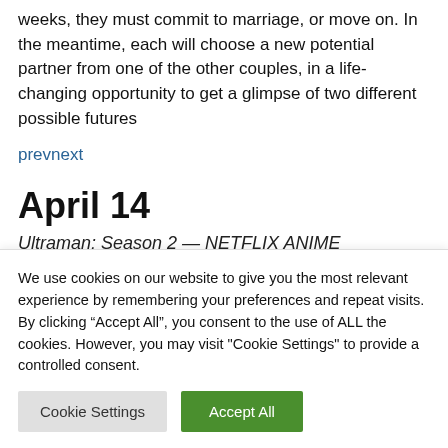weeks, they must commit to marriage, or move on. In the meantime, each will choose a new potential partner from one of the other couples, in a life-changing opportunity to get a glimpse of two different possible futures
prevnext
April 14
Ultraman: Season 2 — NETFLIX ANIME
We use cookies on our website to give you the most relevant experience by remembering your preferences and repeat visits. By clicking “Accept All”, you consent to the use of ALL the cookies. However, you may visit "Cookie Settings" to provide a controlled consent.